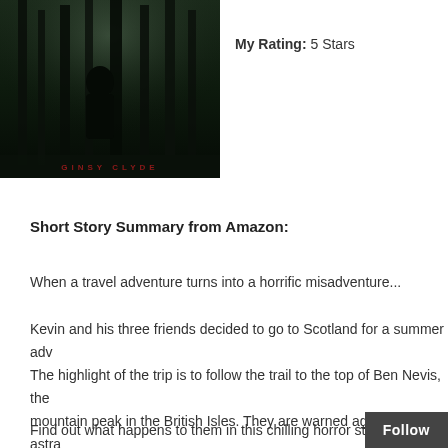[Figure (photo): Book cover for 'Ginsy Clyde' showing a dark forest scene with a hooded figure standing among tall trees with misty light filtering through. The title 'GINSY CLYDE' appears at the bottom in red letters.]
My Rating: 5 Stars
Short Story Summary from Amazon:
When a travel adventure turns into a horrific misadventure...
Kevin and his three friends decided to go to Scotland for a summer adv... The highlight of the trip is to follow the trail to the top of Ben Nevis, the... mountain peak in the British Isles. They are warned against going astra... wander off the marked path in the tourist maps but the spirit of adven... them towards something sinister.
Find out what happens to them in this chilling horror story